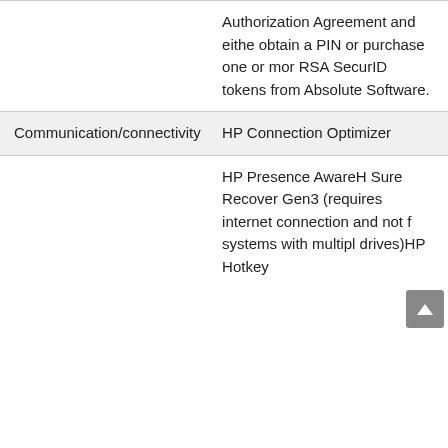| Category | Feature |
| --- | --- |
|  | Authorization Agreement and either obtain a PIN or purchase one or more RSA SecurID tokens from Absolute Software. |
| Communication/connectivity | HP Connection Optimizer |
|  | HP Presence AwareHP Sure Recover Gen3 (requires internet connection and not for systems with multiple drives)HP Hotkey |